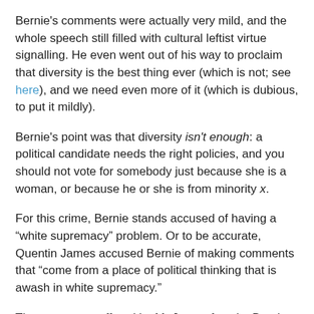Bernie's comments were actually very mild, and the whole speech still filled with cultural leftist virtue signalling. He even went out of his way to proclaim that diversity is the best thing ever (which is not; see here), and we need even more of it (which is dubious, to put it mildly).
Bernie's point was that diversity isn't enough: a political candidate needs the right policies, and you should not vote for somebody just because she is a woman, or because he or she is from minority x.
For this crime, Bernie stands accused of having a “white supremacy” problem. Or to be accurate, Quentin James accused Bernie of making comments that “come from a place of political thinking that is awash in white supremacy.”
The arguments offered by Mr James for why Bernie has this horrendous “white supremacy” problem make no sense:
(1) the principal implication is that the presence of white people in the elite as a majority group is